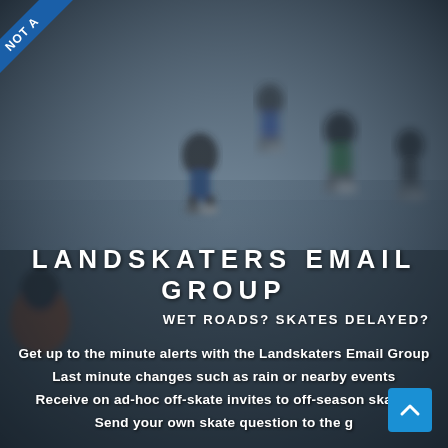[Figure (photo): Blurred photo of inline skaters on a cobblestone/asphalt road, seen from low angle, multiple skaters visible]
LANDSKATERS EMAIL GROUP
WET ROADS? SKATES DELAYED?
Get up to the minute alerts with the Landskaters Email Group
Last minute changes such as rain or nearby events
Receive on ad-hoc off-skate invites to off-season skates
Send your own skate question to the g